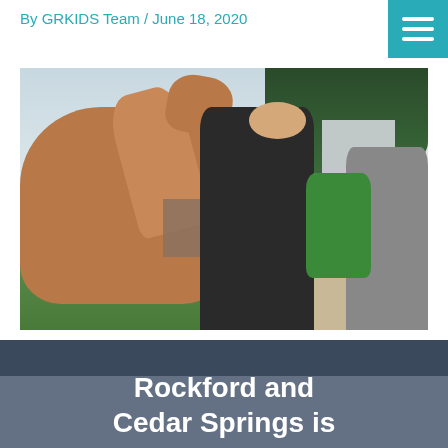By GRKIDS Team / June 18, 2020
[Figure (photo): A woman holding a baby/toddler as a camel leans over a wooden fence toward them at a farm or petting zoo. A barn and trees are visible in the background. Another person is partially visible on the right.]
Rockford and Cedar Springs is